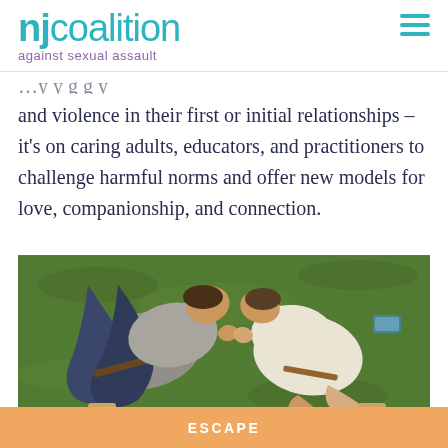[Figure (logo): NJ Coalition Against Sexual Assault logo in teal/aqua color with hamburger menu icon]
and violence in their first or initial relationships – it's on caring adults, educators, and practitioners to challenge harmful norms and offer new models for love, companionship, and connection.
[Figure (photo): Aerial view of a couple lying on green grass, holding hands, viewed from above]
ESCAPE